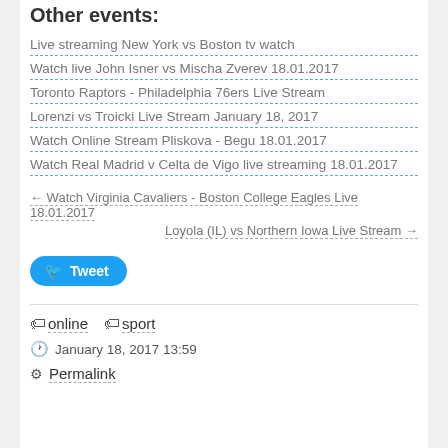Other events:
Live streaming New York vs Boston tv watch
Watch live John Isner vs Mischa Zverev 18.01.2017
Toronto Raptors - Philadelphia 76ers Live Stream
Lorenzi vs Troicki Live Stream January 18, 2017
Watch Online Stream Pliskova - Begu 18.01.2017
Watch Real Madrid v Celta de Vigo live streaming 18.01.2017
← Watch Virginia Cavaliers - Boston College Eagles Live 18.01.2017
Loyola (IL) vs Northern Iowa Live Stream →
Tweet
online  sport
January 18, 2017 13:59
Permalink